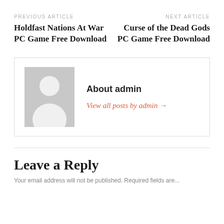PREVIOUS ARTICLE
Holdfast Nations At War PC Game Free Download
NEXT ARTICLE
Curse of the Dead Gods PC Game Free Download
[Figure (illustration): Generic user avatar placeholder with grey background, white silhouette of a person]
About admin
View all posts by admin →
Leave a Reply
Your email address will not be published. Required fields are...